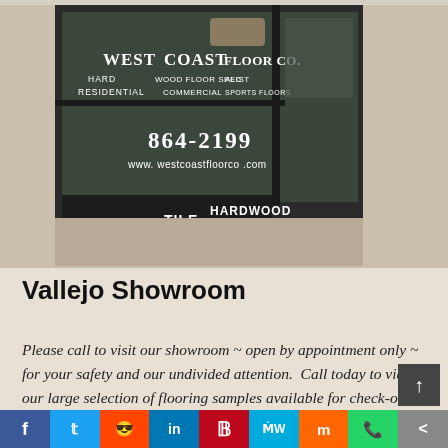[Figure (photo): Photo of West Coast Floor Co. storefront showroom in Vallejo, with signage visible on dark glass windows reading WEST COAST FLOOR CO., HARDWOOD FLOOR SPECIALIST, RESIDENTIAL, COMMERCIAL, SPORTS FLOORS, phone number 864-2199, website www.westcoastfloorco.com, and product categories CARPET, TILE, HARDWOOD.]
Vallejo Showroom
Please call to visit our showroom ~ open by appointment only ~ for your safety and our undivided attention. Call today to view our large selection of flooring samples available for check-out.